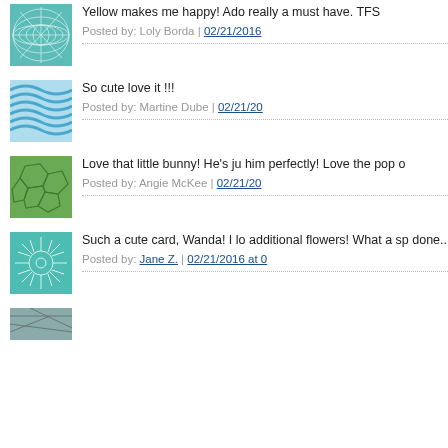[Figure (illustration): Teal/cyan geometric net pattern avatar image]
Yellow makes me happy! Ado really a must have. TFS
Posted by: Loly Borda | 02/21/2016
[Figure (illustration): Blue wavy lines pattern avatar image]
So cute love it !!!
Posted by: Martine Dube | 02/21/20
[Figure (illustration): Green geometric pebble/cell pattern avatar image]
Love that little bunny! He's ju him perfectly! Love the pop o
Posted by: Angie McKee | 02/21/20
[Figure (illustration): Teal/cyan floral sunburst pattern avatar image]
Such a cute card, Wanda! I lo additional flowers! What a sp done...and thanks for sharing
Posted by: Jane Z. | 02/21/2016 at 0
[Figure (illustration): Partial avatar image at bottom, grey/brown pattern]